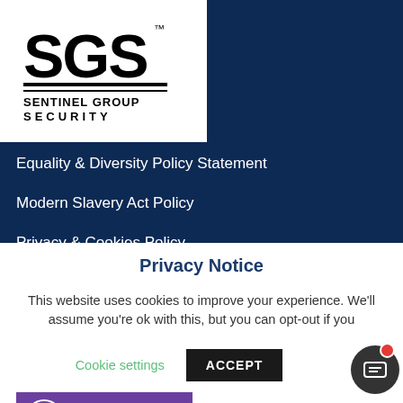[Figure (logo): SGS Sentinel Group Security logo - black text with horizontal lines]
Equality & Diversity Policy Statement
Modern Slavery Act Policy
Privacy & Cookies Policy
Social Accountability Policy
[Figure (logo): School Supplies Service badge with purple background and S logo - listed school supplier]
Privacy Notice
This website uses cookies to improve your experience. We'll assume you're ok with this, but you can opt-out if you
Cookie settings    ACCEPT